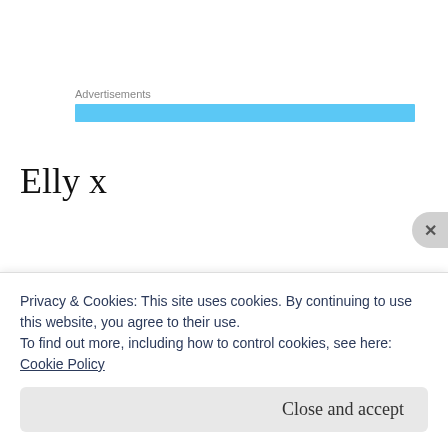Advertisements
[Figure (other): Horizontal light blue advertisement banner]
Elly x
Share this:
Share button
Privacy & Cookies: This site uses cookies. By continuing to use this website, you agree to their use.
To find out more, including how to control cookies, see here:
Cookie Policy
Close and accept